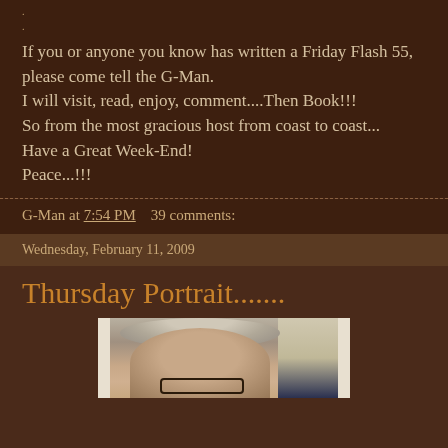.
.
If you or anyone you know has written a Friday Flash 55, please come tell the G-Man.
I will visit, read, enjoy, comment....Then Book!!!
So from the most gracious host from coast to coast...
Have a Great Week-End!
Peace...!!!
G-Man at 7:54 PM    39 comments:
Wednesday, February 11, 2009
Thursday Portrait.......
[Figure (photo): Portrait photo of a person with gray/silver hair and glasses, facing slightly downward, indoor background]